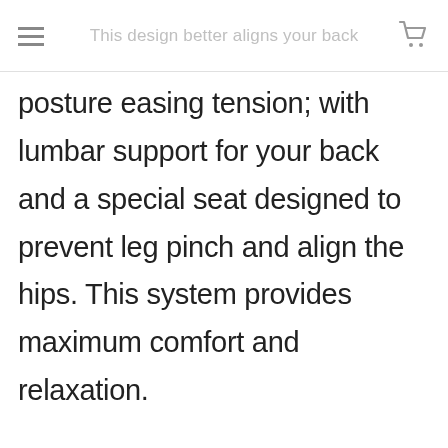This design better aligns your back
posture easing tension; with lumbar support for your back and a special seat designed to prevent leg pinch and align the hips. This system provides maximum comfort and relaxation.

- Strong, reinforced frame with heavy-duty rivets to improve stability. With its 20” seat width and extra-wide feet, it's perfect for more uneven surfaces such as